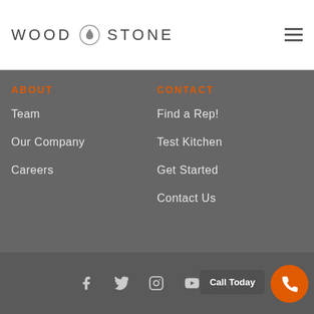WOOD STONE
ABOUT
Team
Our Company
Careers
CONTACT
Find a Rep!
Test Kitchen
Get Started
Contact Us
QUOTE
Call Today — social icons: Facebook, Twitter, Instagram, YouTube, LinkedIn